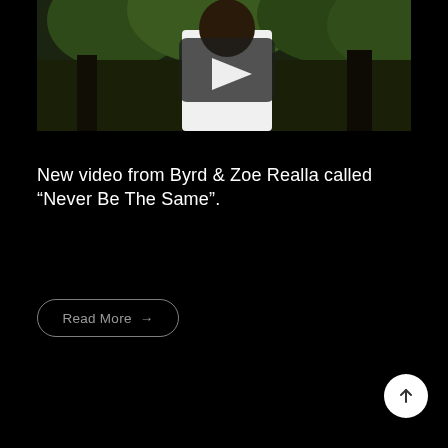[Figure (screenshot): Video thumbnail showing a large man in a white shirt and gold chain standing outdoors among trees, with a YouTube-style play button overlay in the center.]
New video from Byrd & Zoe Realla called “Never Be The Same”.
Read More →